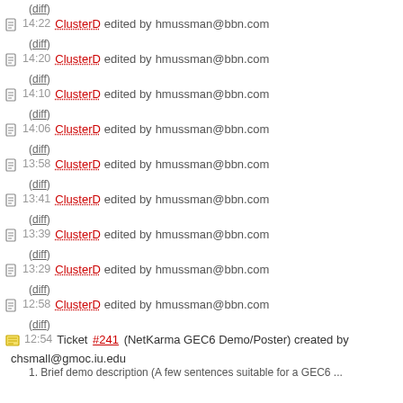(diff) [partial top entry]
14:22 ClusterD edited by hmussman@bbn.com (diff)
14:20 ClusterD edited by hmussman@bbn.com (diff)
14:10 ClusterD edited by hmussman@bbn.com (diff)
14:06 ClusterD edited by hmussman@bbn.com (diff)
13:58 ClusterD edited by hmussman@bbn.com (diff)
13:41 ClusterD edited by hmussman@bbn.com (diff)
13:39 ClusterD edited by hmussman@bbn.com (diff)
13:29 ClusterD edited by hmussman@bbn.com (diff)
12:58 ClusterD edited by hmussman@bbn.com (diff)
12:54 Ticket #241 (NetKarma GEC6 Demo/Poster) created by chsmall@gmoc.iu.edu
1. Brief demo description (A few sentences suitable for a GEC6 ...